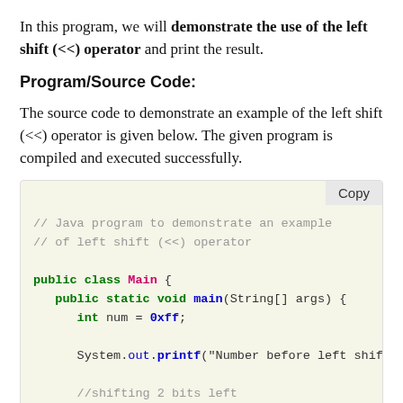In this program, we will demonstrate the use of the left shift (<<) operator and print the result.
Program/Source Code:
The source code to demonstrate an example of the left shift (<<) operator is given below. The given program is compiled and executed successfully.
[Figure (screenshot): Java code block showing a program that demonstrates the left shift (<<) operator. Contains a class Main with a main method, declares int num = 0xff, prints number before left shift, then shifts num = (num << 2).]